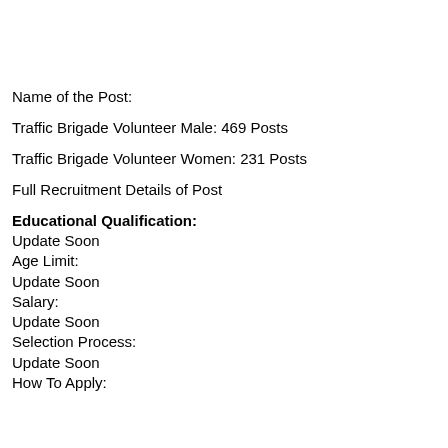Name of the Post:
Traffic Brigade Volunteer Male: 469 Posts
Traffic Brigade Volunteer Women: 231 Posts
Full Recruitment Details of Post
Educational Qualification:
Update Soon
Age Limit:
Update Soon
Salary:
Update Soon
Selection Process:
Update Soon
How To Apply: